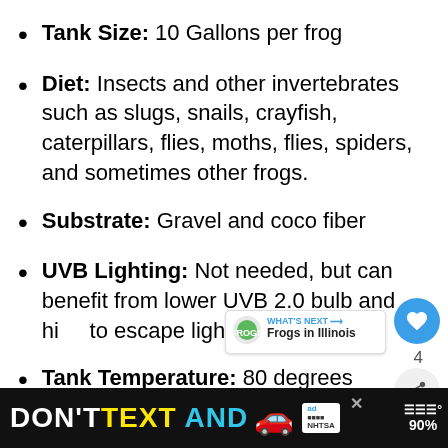Tank Size: 10 Gallons per frog
Diet: Insects and other invertebrates such as slugs, snails, crayfish, caterpillars, flies, moths, flies, spiders, and sometimes other frogs.
Substrate: Gravel and coco fiber
UVB Lighting: Not needed, but can benefit from lower UVB 2.0 bulb and hide to escape light.
Tank Temperature: 80 degrees Fahrenheit / 26.6 degrees Celsius
[Figure (screenshot): Ad banner at bottom: DON'T TEXT AND [car emoji] with NHTSA logo, close button, and percentage indicator on the right]